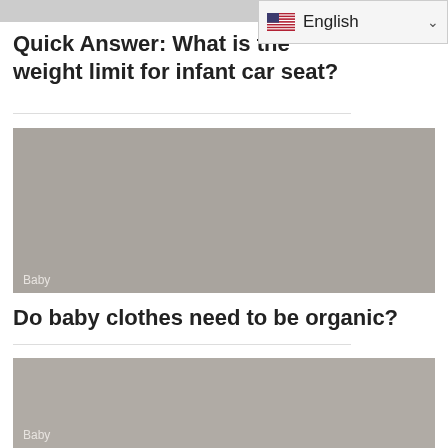English
Quick Answer: What is the weight limit for infant car seat?
[Figure (photo): Gray placeholder image with 'Baby' label in lower-left corner]
Do baby clothes need to be organic?
[Figure (photo): Gray placeholder image with 'Baby' label in lower-left corner]